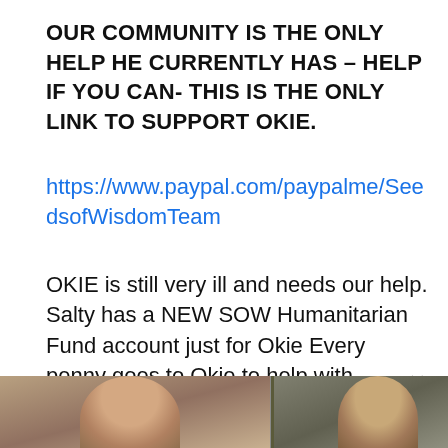OUR COMMUNITY IS THE ONLY HELP HE CURRENTLY HAS – HELP IF YOU CAN- THIS IS THE ONLY LINK TO SUPPORT OKIE.
https://www.paypal.com/paypalme/SeedsofWisdomTeam
OKIE is still very ill and needs our help. Salty has a NEW SOW Humanitarian Fund account just for Okie Every penny goes to Okie to help with Medical costs. He [JSV]
http://paypal.me/C...
[Figure (photo): Two people shown in a photo strip at the bottom of the page, cropped at the head/shoulder area against a dark background.]